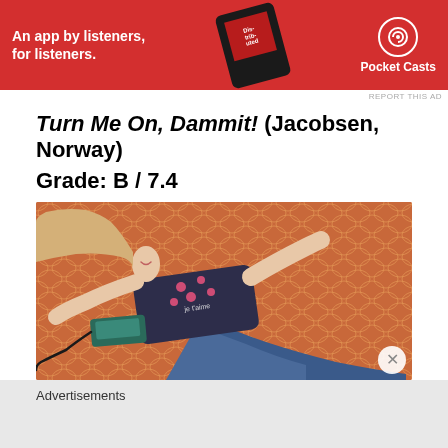[Figure (illustration): Pocket Casts advertisement banner — red background, white text 'An app by listeners, for listeners.', phone graphic, Pocket Casts logo on right]
Turn Me On, Dammit! (Jacobsen, Norway)
Grade: B / 7.4
[Figure (photo): Young blonde woman lying on an orange tiled floor, wearing a dark t-shirt with pink hearts and 'je t'aime' text. A corded telephone lies next to her. She is posing with eyes closed looking upward.]
Advertisements